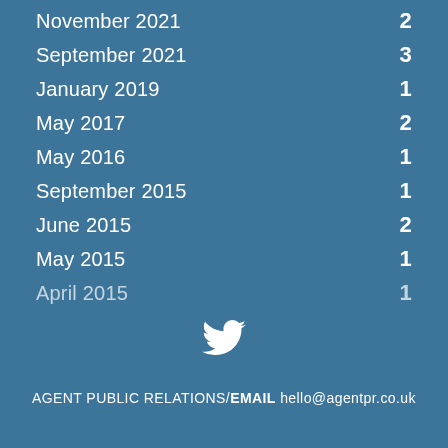November 2021  2
September 2021  3
January 2019  1
May 2017  2
May 2016  1
September 2015  1
June 2015  2
May 2015  1
April 2015  1
[Figure (logo): Twitter bird icon in white]
AGENT PUBLIC RELATIONS / EMAIL hello@agentpr.co.uk